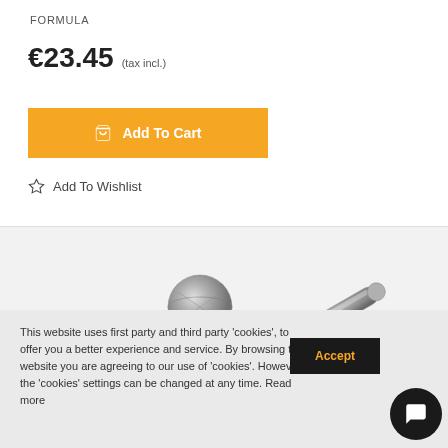FORMULA
€23.45 (tax incl.)
Add To Cart
Add To Wishlist
[Figure (photo): Product photo showing two small metal screws/ball-tip pins on a light grey background]
This website uses first party and third party 'cookies', to offer you a better experience and service. By browsing this website you are agreeing to our use of 'cookies'. However the 'cookies' settings can be changed at any time. Read more